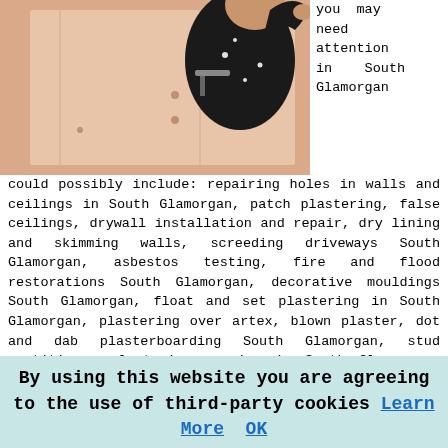[Figure (photo): A person in dark clothing plastering or working on a pink/beige wall surface, viewed from behind/side]
you may need attention in South Glamorgan
could possibly include: repairing holes in walls and ceilings in South Glamorgan, patch plastering, false ceilings, drywall installation and repair, dry lining and skimming walls, screeding driveways South Glamorgan, asbestos testing, fire and flood restorations South Glamorgan, decorative mouldings South Glamorgan, float and set plastering in South Glamorgan, plastering over artex, blown plaster, dot and dab plasterboarding South Glamorgan, stud partitions, plastering repairs in South Glamorgan, ceramic tiling in South Glamorgan, the rendering of blockwork, coloured K Rend in South Glamorgan, suspended ceilings South Glamorgan, floor levelling and screeding, ceiling roses and cornices South Glamorgan, bonding, rendering with sand and cement in South Glamorgan, re-skims and more.
South Glamorgan plasterers include: Thistle Plastering and Decorating, KF Decorating And Plastering, Blake Plastering
By using this website you are agreeing to the use of third-party cookies Learn More OK